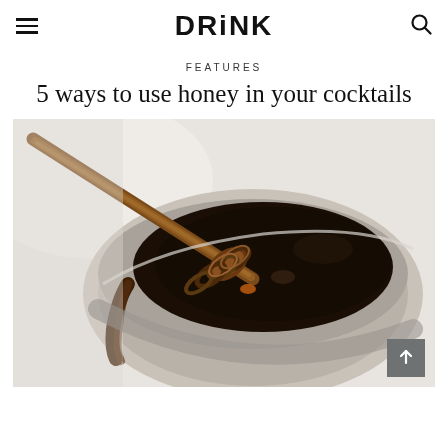DRiNK
FEATURES
5 ways to use honey in your cocktails
[Figure (photo): Close-up photograph of a honey dipper resting in a small ceramic bowl filled with dark honey, with honey dripping from the wooden dipper. Blurred light background.]